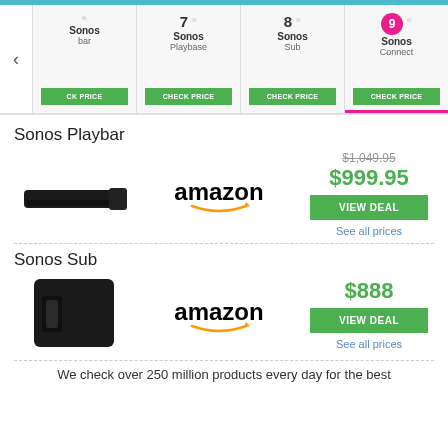Navigation strip: Sonos Playbar, 7 Sonos Playbase, 8 Sonos Sub, 9 (active) Sonos Connect
Sonos Playbar
[Figure (photo): Sonos Playbar soundbar product image, black, horizontal]
[Figure (logo): Amazon logo with orange arrow]
$1,049.95 (strikethrough) $999.95 VIEW DEAL See all prices
Sonos Sub
[Figure (photo): Sonos Sub subwoofer product image, black cube]
[Figure (logo): Amazon logo with orange arrow]
$888 VIEW DEAL See all prices
We check over 250 million products every day for the best